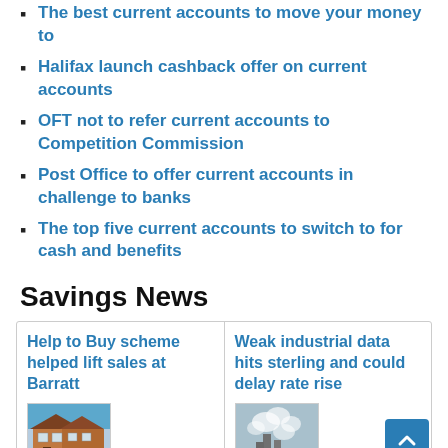The best current accounts to move your money to
Halifax launch cashback offer on current accounts
OFT not to refer current accounts to Competition Commission
Post Office to offer current accounts in challenge to banks
The top five current accounts to switch to for cash and benefits
Savings News
Help to Buy scheme helped lift sales at Barratt
Weak industrial data hits sterling and could delay rate rise
[Figure (photo): Exterior photo of a Barratt residential housing development, red-brick semi-detached houses with blue sky backdrop]
[Figure (photo): Industrial facility with smoke or steam rising, grey and blue tones]